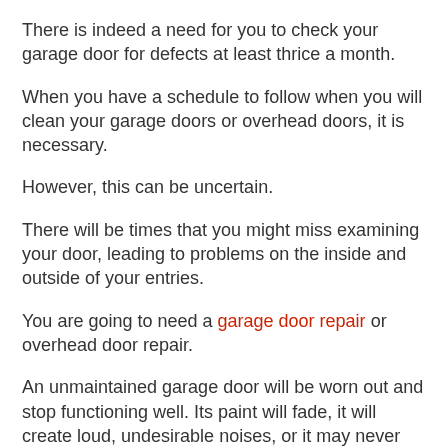There is indeed a need for you to check your garage door for defects at least thrice a month.
When you have a schedule to follow when you will clean your garage doors or overhead doors, it is necessary.
However, this can be uncertain.
There will be times that you might miss examining your door, leading to problems on the inside and outside of your entries.
You are going to need a garage door repair or overhead door repair.
An unmaintained garage door will be worn out and stop functioning well. Its paint will fade, it will create loud, undesirable noises, or it may never open again.
WAYS TO ALWAYS SOLVE THE